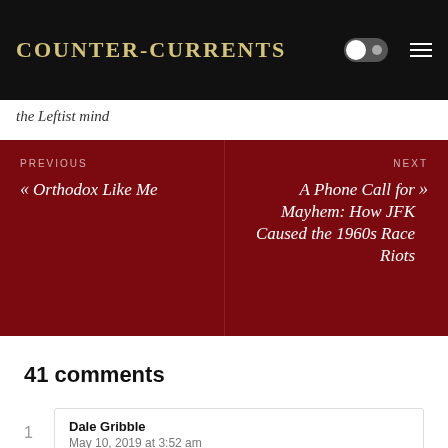COUNTER-CURRENTS
the Leftist mind
PREVIOUS
« Orthodox Like Me
NEXT
» A Phone Call for Mayhem: How JFK Caused the 1960s Race Riots
41 comments
Dale Gribble
May 10, 2019 at 3:52 am
Did Jezebel, Bathsheba and Sapphira inspire her to the same degree